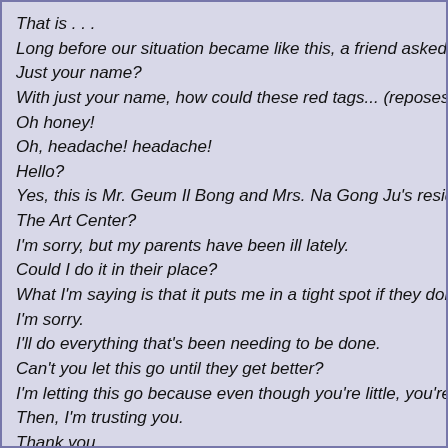That is . . .
Long before our situation became like this, a friend asked to j
Just your name?
With just your name, how could these red tags... (reposession
Oh honey!
Oh, headache! headache!
Hello?
Yes, this is Mr. Geum Il Bong and Mrs. Na Gong Ju's residen
The Art Center?
I'm sorry, but my parents have been ill lately.
Could I do it in their place?
What I'm saying is that it puts me in a tight spot if they don't c
I'm sorry.
I'll do everything that's been needing to be done.
Can't you let this go until they get better?
I'm letting this go because even though you're little, you're so
Then, I'm trusting you.
Thank you.
Thank you!